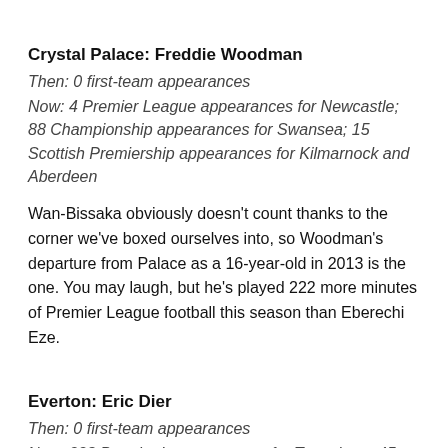Crystal Palace: Freddie Woodman
Then: 0 first-team appearances
Now: 4 Premier League appearances for Newcastle; 88 Championship appearances for Swansea; 15 Scottish Premiership appearances for Kilmarnock and Aberdeen
Wan-Bissaka obviously doesn't count thanks to the corner we've boxed ourselves into, so Woodman's departure from Palace as a 16-year-old in 2013 is the one. You may laugh, but he's played 222 more minutes of Premier League football this season than Eberechi Eze.
Everton: Eric Dier
Then: 0 first-team appearances
Now: 228 Premier League games for Tottenham; 45